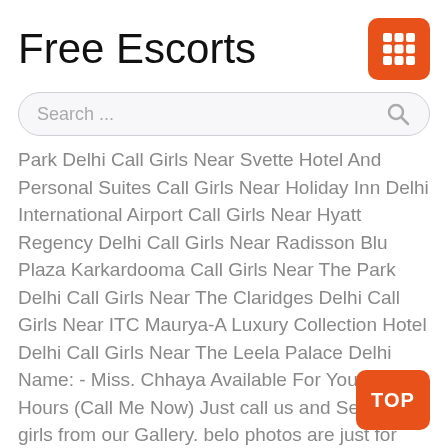Free Escorts
Search ...
Park Delhi Call Girls Near Svette Hotel And Personal Suites Call Girls Near Holiday Inn Delhi International Airport Call Girls Near Hyatt Regency Delhi Call Girls Near Radisson Blu Plaza Karkardooma Call Girls Near The Park Delhi Call Girls Near The Claridges Delhi Call Girls Near ITC Maurya-A Luxury Collection Hotel Delhi Call Girls Near The Leela Palace Delhi Name: - Miss. Chhaya Available For You 24 Hours (Call Me Now) Just call us and Select a girls from our Gallery. belo photos are just for demonstration, we have so ng spacial then this photos.. CALL Miss. Chhaya +91-9717957793♣ ◈ ✦ We provide :- • Models • VIP Models • Russian Models • Foreigner Models • TV Actress and
TOP